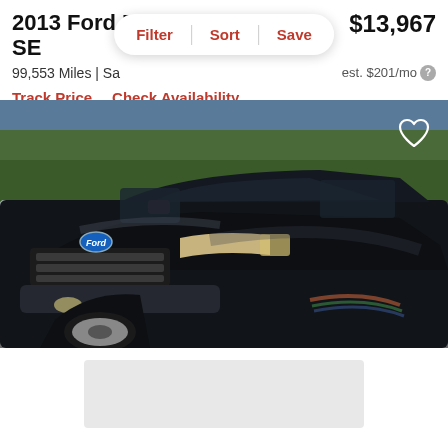2013 Ford Escape SE
$13,967
99,553 Miles | Sa...
est. $201/mo
Filter | Sort | Save
Track Price   Check Availability
[Figure (photo): Black 2013 Ford Escape SE SUV parked at a dealership lot, front three-quarter view, with other vehicles visible in background.]
[Figure (other): Gray placeholder card at bottom of page]